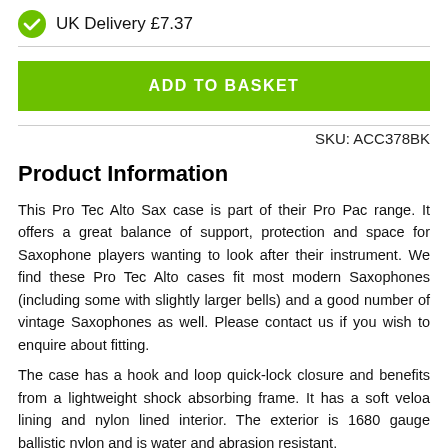UK Delivery £7.37
ADD TO BASKET
SKU: ACC378BK
Product Information
This Pro Tec Alto Sax case is part of their Pro Pac range. It offers a great balance of support, protection and space for Saxophone players wanting to look after their instrument. We find these Pro Tec Alto cases fit most modern Saxophones (including some with slightly larger bells) and a good number of vintage Saxophones as well. Please contact us if you wish to enquire about fitting.
The case has a hook and loop quick-lock closure and benefits from a lightweight shock absorbing frame. It has a soft veloa lining and nylon lined interior. The exterior is 1680 gauge ballistic nylon and is water and abrasion resistant.